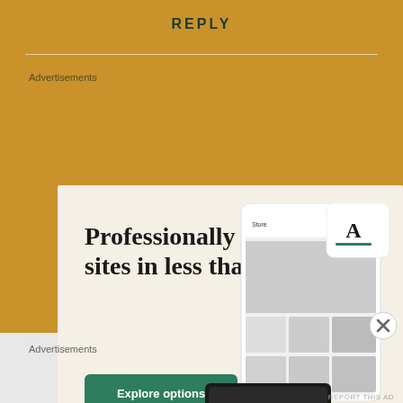REPLY
Advertisements
[Figure (screenshot): WordPress advertisement showing 'Professionally designed sites in less than a week' with an Explore options green button, WordPress logo, and website mockup screenshots on a cream background.]
Advertisements